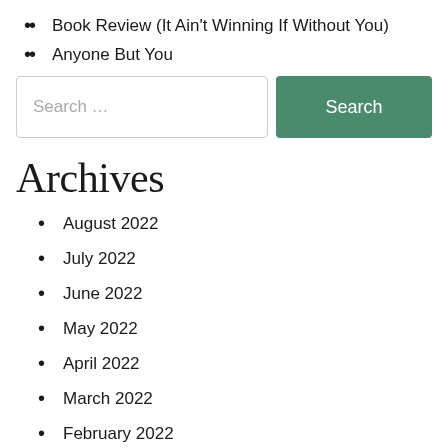Book Review (It Ain't Winning If Without You)
Anyone But You
[Figure (other): Search bar with text input field showing 'Search ...' placeholder and a green 'Search' button]
Archives
August 2022
July 2022
June 2022
May 2022
April 2022
March 2022
February 2022
January 2022
December 2021